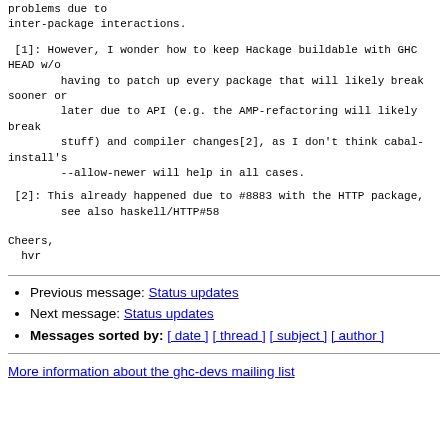problems due to
inter-package interactions.
[1]: However, I wonder how to keep Hackage buildable with GHC HEAD w/o
        having to patch up every package that will likely break sooner or
        later due to API (e.g. the AMP-refactoring will likely break
        stuff) and compiler changes[2], as I don't think cabal-install's
        --allow-newer will help in all cases.
[2]: This already happened due to #8883 with the HTTP package,
        see also haskell/HTTP#58
Cheers,
  hvr
Previous message: Status updates
Next message: Status updates
Messages sorted by: [ date ] [ thread ] [ subject ] [ author ]
More information about the ghc-devs mailing list